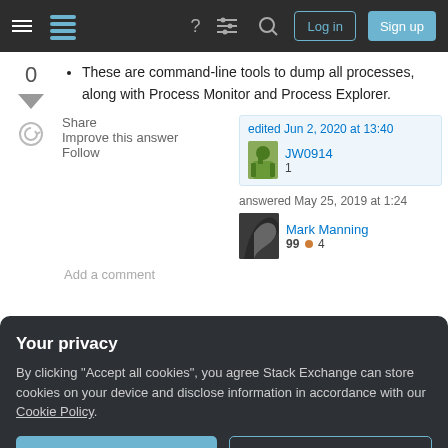Stack Exchange navigation bar with Log in and Sign up buttons
These are command-line tools to dump all processes, along with Process Monitor and Process Explorer.
Share  Improve this answer  Follow  |  edited Jun 2, 2020 at 13:40  JW0914  1  |  answered May 25, 2019 at 1:24  Mark Manning  99 ● 4
Add a comment
Your privacy
By clicking "Accept all cookies", you agree Stack Exchange can store cookies on your device and disclose information in accordance with our Cookie Policy.
Accept all cookies  Customize settings
Write-Host "output will be refreshed in 5